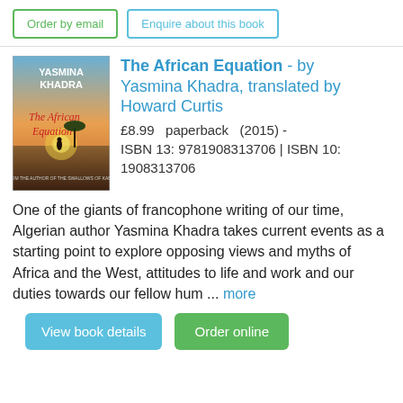Order by email
Enquire about this book
[Figure (photo): Book cover of The African Equation by Yasmina Khadra, showing a silhouette of a person under an acacia tree on the African savanna at sunset]
The African Equation - by Yasmina Khadra, translated by Howard Curtis
£8.99  paperback  (2015) - ISBN 13: 9781908313706 | ISBN 10: 1908313706
One of the giants of francophone writing of our time, Algerian author Yasmina Khadra takes current events as a starting point to explore opposing views and myths of Africa and the West, attitudes to life and work and our duties towards our fellow hum ... more
View book details
Order online